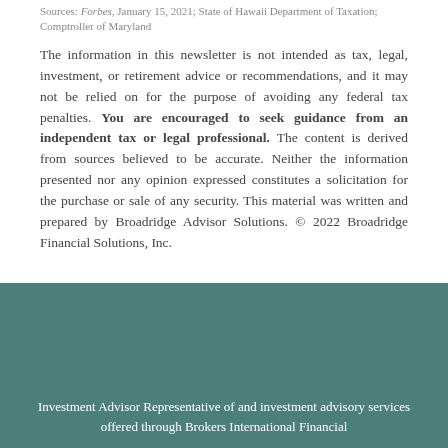Sources: Forbes, January 15, 2021; State of Hawaii Department of Taxation; Comptroller of Maryland
The information in this newsletter is not intended as tax, legal, investment, or retirement advice or recommendations, and it may not be relied on for the purpose of avoiding any federal tax penalties. You are encouraged to seek guidance from an independent tax or legal professional. The content is derived from sources believed to be accurate. Neither the information presented nor any opinion expressed constitutes a solicitation for the purchase or sale of any security. This material was written and prepared by Broadridge Advisor Solutions. © 2022 Broadridge Financial Solutions, Inc.
Investment Advisor Representative of and investment advisory services offered through Brokers International Financial